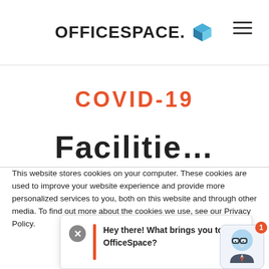OFFICESPACE. [logo icon]
COVID-19
Facilitie…
This website stores cookies on your computer. These cookies are used to improve your website experience and provide more personalized services to you, both on this website and through other media. To find out more about the cookies we use, see our Privacy Policy.
We won't track your information when you visit our site. But in order to comply with your preferences, we'll have to use just one tiny cookie so that you're not asked to make this choice again.
Hey there! What brings you to OfficeSpace?